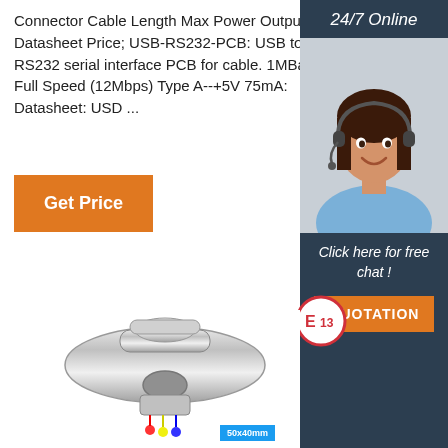Connector Cable Length Max Power Output Datasheet Price; USB-RS232-PCB: USB to RS232 serial interface PCB for cable. 1MBaud: Full Speed (12Mbps) Type A--+5V 75mA: Datasheet: USD ...
Get Price
24/7 Online
[Figure (photo): Customer service woman wearing a headset, smiling, upper body shot]
Click here for free chat !
QUOTATION
[Figure (illustration): E13 certification badge - circle with E13 text inside]
[Figure (photo): Chrome trailer coupler/hitch lock product photo]
50x40mm